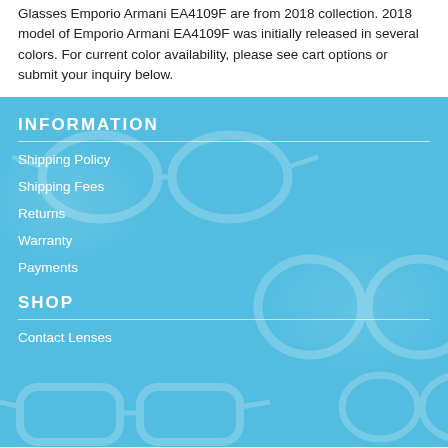Glasses Emporio Armani EA4109F are from 2018 collection. 2018 model of Emporio Armani EA4109F was initially released in several colors. For current color availability, please see cart options or submit your inquiry below.
INFORMATION
Shipping Policy
Shipping Fees
Returns
Warranty
Payments
SHOP
Contact Lenses